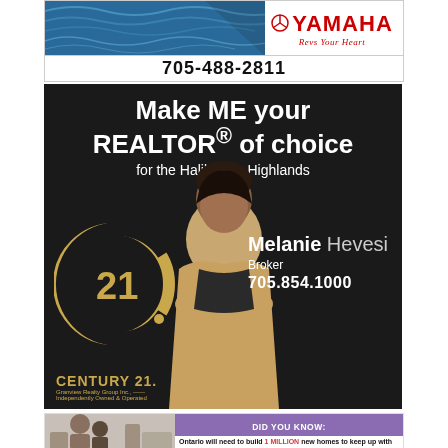[Figure (advertisement): Yamaha watercraft advertisement with water background, Yamaha logo with tuning fork symbol and 'Revs Your Heart' tagline, phone number 705-488-2811]
[Figure (advertisement): Century 21 real estate advertisement featuring Melanie Hevesi, Broker. Dark background. Text: Make ME your REALTOR® of choice for the Haliburton Highlands. Phone: 705.854.1000. Century 21 Granview Realty Group Inc., Independently Owned & Operated.]
[Figure (advertisement): Did You Know advertisement partially visible. Purple banner header 'DID YOU KNOW:'. Text: Ontario will need to build 1 MILLION new homes to keep up with population growth and address...]